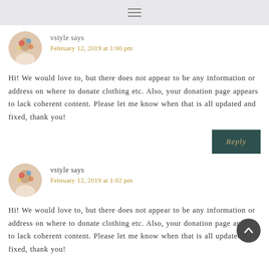≡
vstyle says
February 12, 2019 at 1:00 pm
Hi! We would love to, but there does not appear to be any information or address on where to donate clothing etc. Also, your donation page appears to lack coherent content. Please let me know when that is all updated and fixed, thank you!
Reply
vstyle says
February 12, 2019 at 1:02 pm
Hi! We would love to, but there does not appear to be any information or address on where to donate clothing etc. Also, your donation page appears to lack coherent content. Please let me know when that is all updated and fixed, thank you!